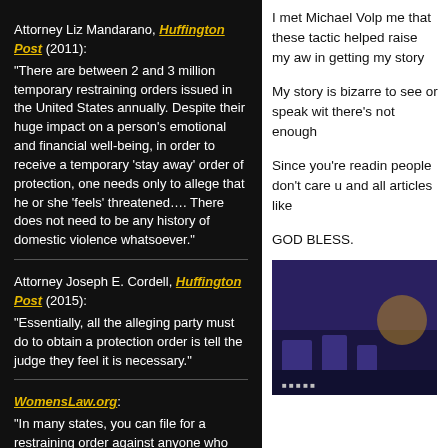Attorney Liz Mandarano, Huffington Post (2011): "There are between 2 and 3 million temporary restraining orders issued in the United States annually. Despite their huge impact on a person's emotional and financial well-being, in order to receive a temporary 'stay away' order of protection, one needs only to allege that he or she 'feels' threatened…. There does not need to be any history of domestic violence whatsoever."
Attorney Joseph E. Cordell, Huffington Post (2015): "Essentially, all the alleging party must do to obtain a protection order is tell the judge they feel it is necessary."
WomensLaw.org: "In many states, you can file for a restraining order against anyone who has stalked or harassed you, even if you do not have a specific relationship with that person. In addition, most states include
I met Michael Volp me that these tactic helped raise my aw in getting my story

My story is bizarre to see or speak wit there's not enough

Since you're readin people don't care u and all articles like

GOD BLESS.
[Figure (photo): Partially visible image with dark blue/purple tones, appears to show buildings or objects against a background with a glowing light source]